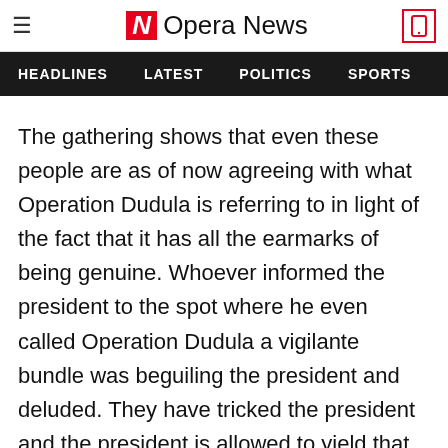Opera News
HEADLINES   LATEST   POLITICS   SPORTS
The gathering shows that even these people are as of now agreeing with what Operation Dudula is referring to in light of the fact that it has all the earmarks of being genuine. Whoever informed the president to the spot where he even called Operation Dudula a vigilante bundle was beguiling the president and deluded. They have tricked the president and the president is allowed to yield that he was misguided about Operation Dudula considering the way that he is human also. He...to blunders.